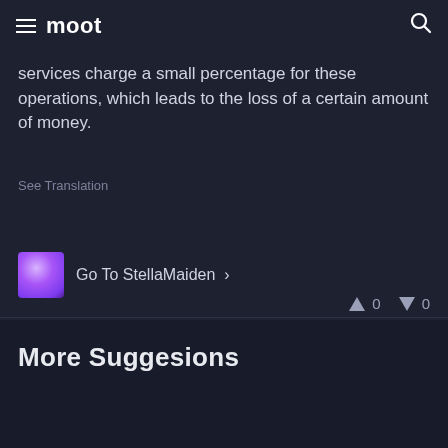moot
services charge a small percentage for these operations, which leads to the loss of a certain amount of money.
See Translation
Go To StellaMaiden >
0  0
More Suggesions